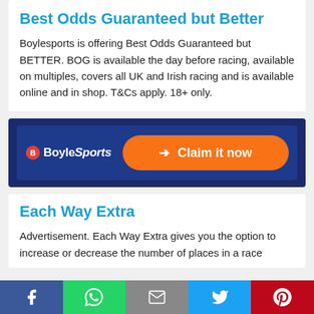Best Odds Guaranteed but Better
Boylesports is offering Best Odds Guaranteed but BETTER. BOG is available the day before racing, available on multiples, covers all UK and Irish racing and is available online and in shop. T&Cs apply. 18+ only.
[Figure (other): BoyleSports promotional banner with orange 'Claim it now' button on dark navy background]
Each Way Extra
Advertisement. Each Way Extra gives you the option to increase or decrease the number of places in a race
[Figure (other): Social sharing bar with Facebook, WhatsApp, Email, Twitter and Pinterest icons]